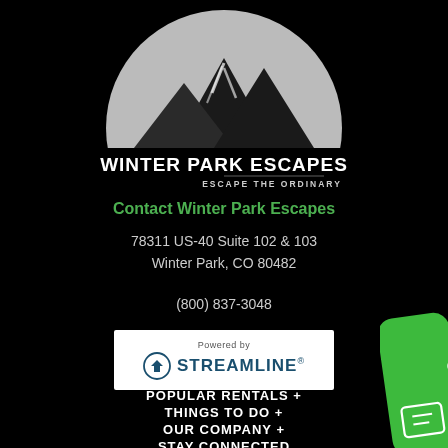[Figure (logo): Winter Park Escapes logo: mountain silhouette in grey semicircle above bold white text 'WINTER PARK ESCAPES' with tagline 'ESCAPE THE ORDINARY']
Contact Winter Park Escapes
78311 US-40 Suite 102 & 103
Winter Park, CO 80482
(800) 837-3048
[Figure (logo): Powered by Streamline logo on white background with circular house/arrow icon]
POPULAR RENTALS +
THINGS TO DO +
OUR COMPANY +
STAY CONNECTED